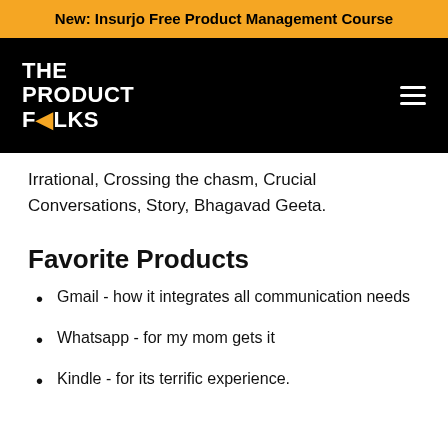New: Insurjo Free Product Management Course
[Figure (logo): The Product Folks logo in white on black background, with hamburger menu icon]
Irrational, Crossing the chasm, Crucial Conversations, Story, Bhagavad Geeta.
Favorite Products
Gmail - how it integrates all communication needs
Whatsapp - for my mom gets it
Kindle - for its terrific experience.